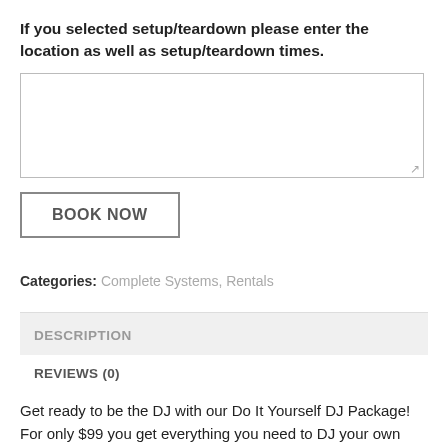If you selected setup/teardown please enter the location as well as setup/teardown times.
BOOK NOW
Categories: Complete Systems, Rentals
DESCRIPTION
REVIEWS (0)
Get ready to be the DJ with our Do It Yourself DJ Package! For only $99 you get everything you need to DJ your own